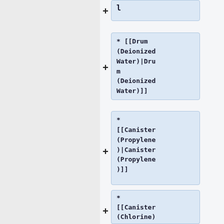l
* [[Drum (Deionized Water)|Drum (Deionized Water)]]
* [[Canister (Propylene)|Canister (Propylene)]]
* [[Canister (Chlorine)|Canister (Chlorine)]]